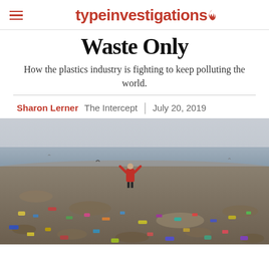typeinvestigations
Waste Only
How the plastics industry is fighting to keep polluting the world.
Sharon Lerner  The Intercept  |  July 20, 2019
[Figure (photo): Person in red jacket standing with arms raised on a beach covered with plastic waste and garbage, overcast sky in background.]